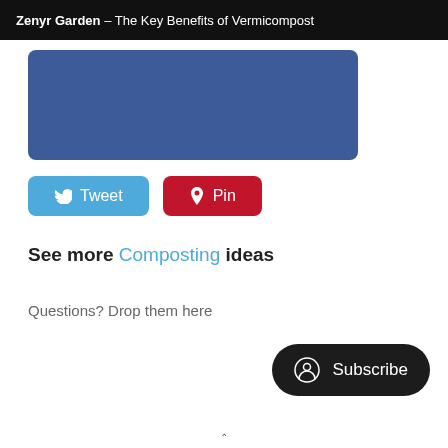Zenyr Garden – The Key Benefits of Vermicompost
[Figure (other): Blue rounded rectangle image placeholder]
Tweet
Pin
See more Composting ideas
Questions? Drop them here
Subscribe